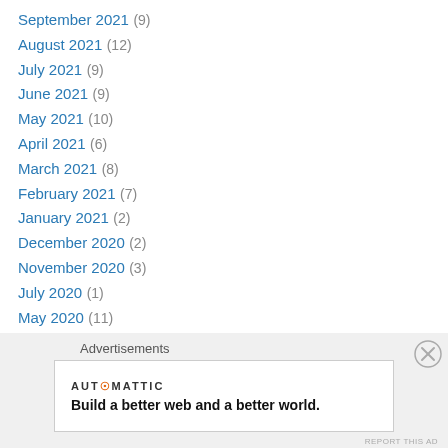September 2021 (9)
August 2021 (12)
July 2021 (9)
June 2021 (9)
May 2021 (10)
April 2021 (6)
March 2021 (8)
February 2021 (7)
January 2021 (2)
December 2020 (2)
November 2020 (3)
July 2020 (1)
May 2020 (11)
April 2020 (2)
March 2020 (2)
February 2020 (1)
Advertisements
[Figure (other): Automattic advertisement: Build a better web and a better world.]